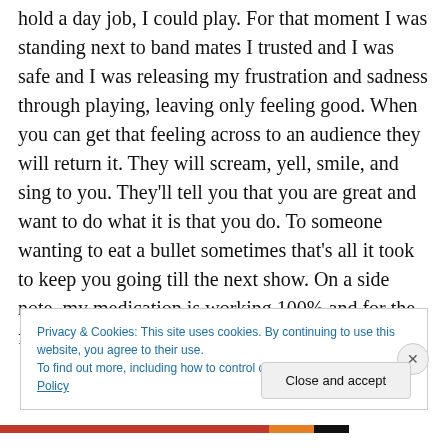hold a day job, I could play. For that moment I was standing next to band mates I trusted and I was safe and I was releasing my frustration and sadness through playing, leaving only feeling good. When you can get that feeling across to an audience they will return it. They will scream, yell, smile, and sing to you. They'll tell you that you are great and want to do what it is that you do. To someone wanting to eat a bullet sometimes that's all it took to keep you going till the next show. On a side note, my medication is working 100% and for the first time in twenty
Privacy & Cookies: This site uses cookies. By continuing to use this website, you agree to their use.
To find out more, including how to control cookies, see here: Cookie Policy